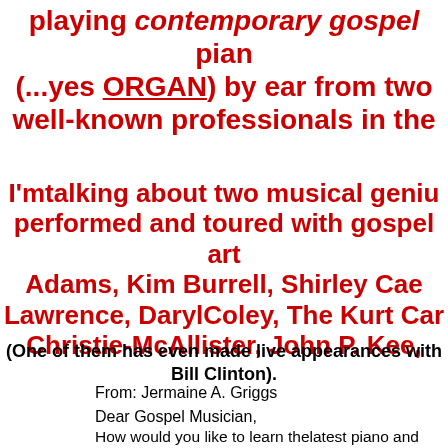playing contemporary gospel piano (...yes ORGAN) by ear from two well-known professionals in the
I'mtalking about two musical geniu performed and toured with gospel art Adams, Kim Burrell, Shirley Cae Lawrence, DarylColey, The Kurt Carr Christie-McAllister, John P. Kee,
(One of them has even made live appearances with Bill Clinton).
From: Jermaine A. Griggs
Dear Gospel Musician,
How would you like to learn thelatest piano and organ tricks fro knownmusicians in gospel music?